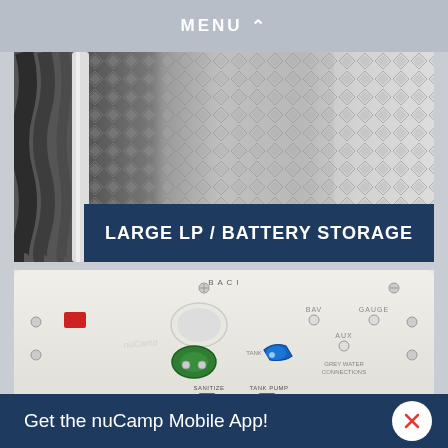MENU
[Figure (photo): Diamond plate metal storage compartment with rope/cable visible on left side, showing large LP / battery storage area]
LARGE LP / BATTERY STORAGE
[Figure (photo): White plumbing/utility panel with valves including green and blue connectors, red switch, labeled ports for BAV, GAUGE, AUX, SANITIZE, TANK PUMP, GREY WATER CONNECTIONS]
Get the nuCamp Mobile App!